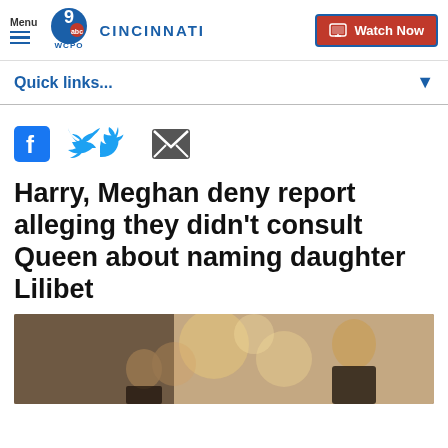Menu | WCPO 9 CINCINNATI | Watch Now
Quick links...
Harry, Meghan deny report alleging they didn't consult Queen about naming daughter Lilibet
[Figure (photo): Photo of Prince Harry and Meghan Markle]